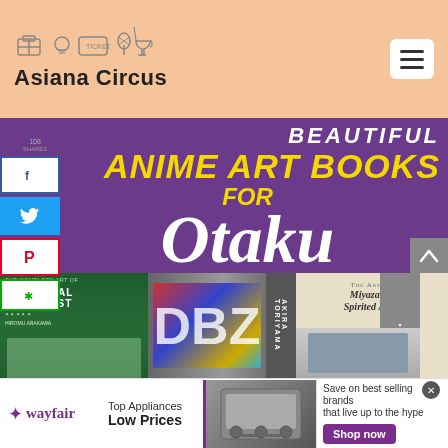[Figure (logo): Asiana Circus logo with icons above text including a suitcase, lightbulb, ticket, pineapple, and trophy. Text reads 'Asiana Circus'.]
[Figure (infographic): Purple banner with yellow and white bold text reading 'BEAUTIFUL ANIME ART BOOKS FOR Otaku' with book cover images at the bottom including Fullmetal Alchemist, Akira Toriyama, and The Art of Miyazaki's Spirited Away. Social share buttons on the left side.]
[Figure (screenshot): Wayfair advertisement banner: wayfair logo on left, 'Top Appliances Low Prices' text in center-left, appliance image center, 'Save on best selling brands that live up to the hype' text and purple 'Shop now' button on right.]